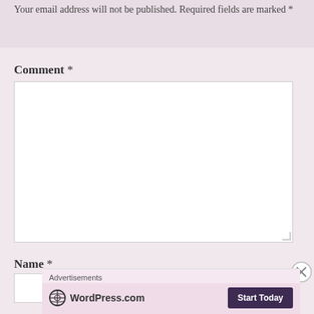Your email address will not be published. Required fields are marked *
Comment *
Name *
[Figure (screenshot): WordPress.com advertisement banner with logo and Start Today button]
Advertisements